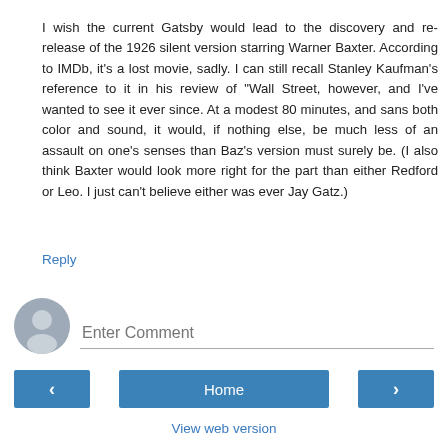I wish the current Gatsby would lead to the discovery and re-release of the 1926 silent version starring Warner Baxter. According to IMDb, it's a lost movie, sadly. I can still recall Stanley Kaufman's reference to it in his review of "Wall Street, however, and I've wanted to see it ever since. At a modest 80 minutes, and sans both color and sound, it would, if nothing else, be much less of an assault on one's senses than Baz's version must surely be. (I also think Baxter would look more right for the part than either Redford or Leo. I just can't believe either was ever Jay Gatz.)
Reply
[Figure (illustration): Gray circular avatar/user icon]
Enter Comment
‹
Home
›
View web version